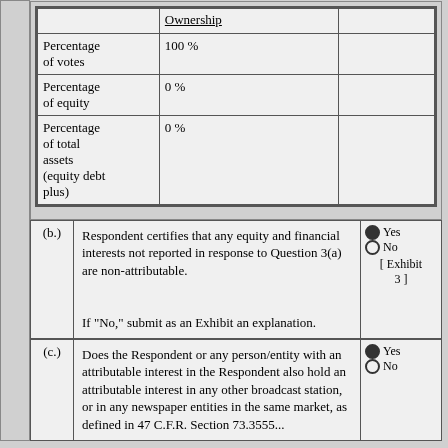|  | Ownership |  |
| --- | --- | --- |
| Percentage of votes | 100 % |  |
| Percentage of equity | 0 % |  |
| Percentage of total assets (equity debt plus) | 0 % |  |
(b.) Respondent certifies that any equity and financial interests not reported in response to Question 3(a) are non-attributable.

If "No," submit as an Exhibit an explanation.
Yes / No [ Exhibit 3 ]
(c.) Does the Respondent or any person/entity with an attributable interest in the Respondent also hold an attributable interest in any other broadcast station, or in any newspaper entities in the same market, as defined in 47 C.F.R. Section 73.3555...
Yes / No